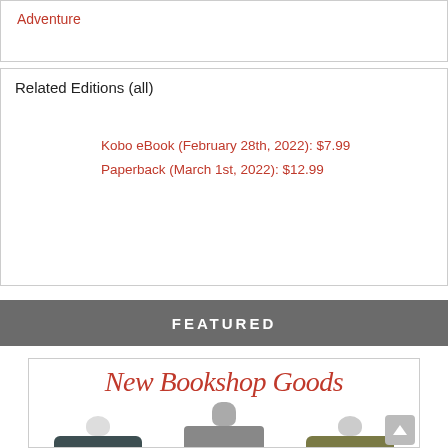Adventure
Related Editions (all)
Kobo eBook (February 28th, 2022): $7.99
Paperback (March 1st, 2022): $12.99
FEATURED
[Figure (photo): New Bookshop Goods banner showing three mannequins wearing Bookshop Santa Cruz branded t-shirts in dark teal, gray, and olive colors.]